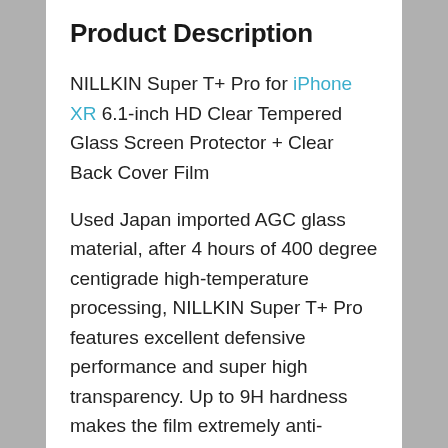Product Description
NILLKIN Super T+ Pro for iPhone XR 6.1-inch HD Clear Tempered Glass Screen Protector + Clear Back Cover Film
Used Japan imported AGC glass material, after 4 hours of 400 degree centigrade high-temperature processing, NILLKIN Super T+ Pro features excellent defensive performance and super high transparency. Up to 9H hardness makes the film extremely anti-scratch, resisting burst, impacts and bumps. Improved oleophobic coating plus vacuum coating